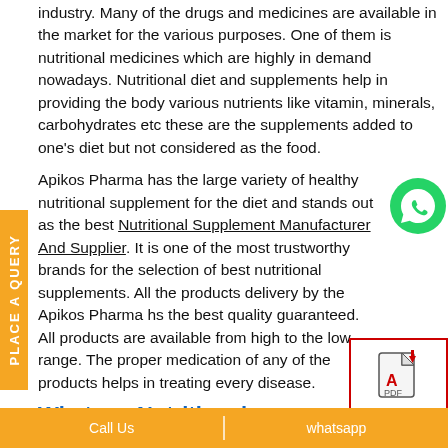industry. Many of the drugs and medicines are available in the market for the various purposes. One of them is nutritional medicines which are highly in demand nowadays. Nutritional diet and supplements help in providing the body various nutrients like vitamin, minerals, carbohydrates etc these are the supplements added to one's diet but not considered as the food.
Apikos Pharma has the large variety of healthy nutritional supplement for the diet and stands out as the best Nutritional Supplement Manufacturer And Supplier. It is one of the most trustworthy brands for the selection of best nutritional supplements. All the products delivery by the Apikos Pharma hs the best quality guaranteed. All products are available from high to the low range. The proper medication of any of the products helps in treating every disease.
[Figure (logo): WhatsApp green icon]
What are Nutritional Supplements?
[Figure (other): PDF Product List download icon with red border]
Nutritional supplements are beneficial for completing the diet with the vitamins, minerals, herbs, or amino acids t
Call Us   |   whatsapp